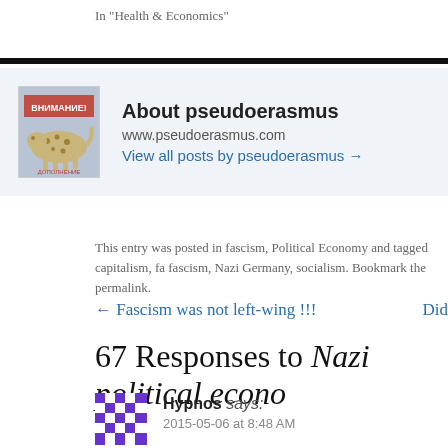In "Health & Economics"
[Figure (infographic): Author box with avatar image showing a book cover with Cyrillic text (ВНИМАНИЕ!) and a cheetah/leopard, alongside author name and links]
About pseudoerasmus
www.pseudoerasmus.com
View all posts by pseudoerasmus →
This entry was posted in fascism, Political Economy and tagged capitalism, fa fascism, Nazi Germany, socialism. Bookmark the permalink.
← Fascism was not left-wing !!!
Did
67 Responses to Nazi political econo
Hypnos says:
2015-05-06 at 8:48 AM